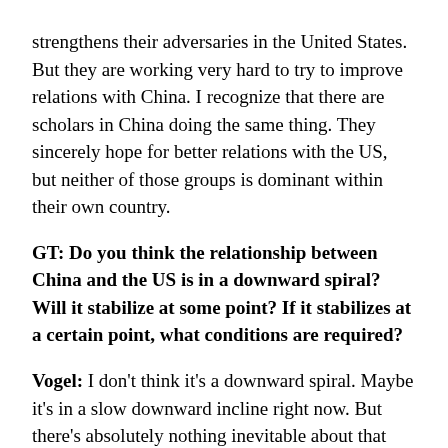strengthens their adversaries in the United States. But they are working very hard to try to improve relations with China. I recognize that there are scholars in China doing the same thing. They sincerely hope for better relations with the US, but neither of those groups is dominant within their own country.
GT: Do you think the relationship between China and the US is in a downward spiral? Will it stabilize at some point? If it stabilizes at a certain point, what conditions are required?
Vogel: I don't think it's a downward spiral. Maybe it's in a slow downward incline right now. But there's absolutely nothing inevitable about that trajectory. I think stabilization is very possible. That's probably the